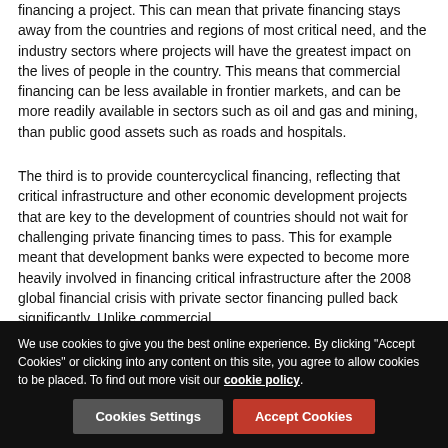financing a project. This can mean that private financing stays away from the countries and regions of most critical need, and the industry sectors where projects will have the greatest impact on the lives of people in the country. This means that commercial financing can be less available in frontier markets, and can be more readily available in sectors such as oil and gas and mining, than public good assets such as roads and hospitals.
The third is to provide countercyclical financing, reflecting that critical infrastructure and other economic development projects that are key to the development of countries should not wait for challenging private financing times to pass. This for example meant that development banks were expected to become more heavily involved in financing critical infrastructure after the 2008 global financial crisis with private sector financing pulled back significantly. Unlike commercial
We use cookies to give you the best online experience. By clicking "Accept Cookies" or clicking into any content on this site, you agree to allow cookies to be placed. To find out more visit our cookie policy.
Cookies Settings
Accept Cookies